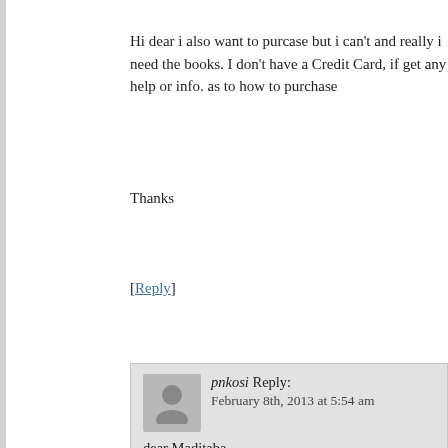Hi dear i also want to purcase but i can't and really i need the books. I don't have a Credit Card, if get any help or info. as to how to purchase
Thanks
[Reply]
[Figure (illustration): Grey avatar silhouette icon for user pnkosi]
pnkosi Reply:
February 8th, 2013 at 5:54 am
dear Maditaba.
if your debit card is a Visa or Mastercard then you can use it instead
[Figure (illustration): Grey avatar silhouette icon for user Masego]
Masego Reply: